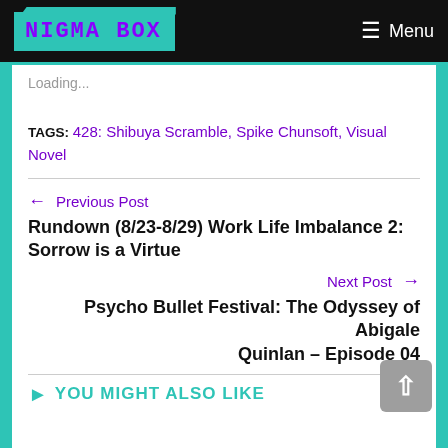NIGMA BOX  Menu
Loading...
TAGS: 428: Shibuya Scramble, Spike Chunsoft, Visual Novel
← Previous Post
Rundown (8/23-8/29) Work Life Imbalance 2: Sorrow is a Virtue
Next Post →
Psycho Bullet Festival: The Odyssey of Abigale Quinlan – Episode 04
▶ YOU MIGHT ALSO LIKE